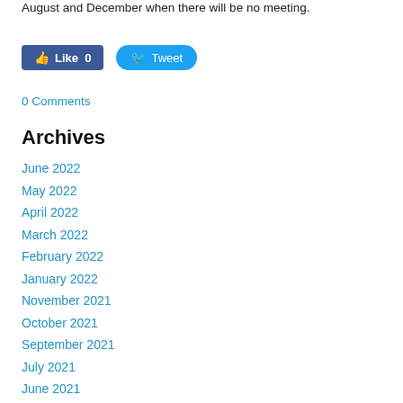August and December when there will be no meeting.
[Figure (other): Social media buttons: Facebook Like (count 0) and Twitter Tweet]
0 Comments
Archives
June 2022
May 2022
April 2022
March 2022
February 2022
January 2022
November 2021
October 2021
September 2021
July 2021
June 2021
May 2021
April 2021